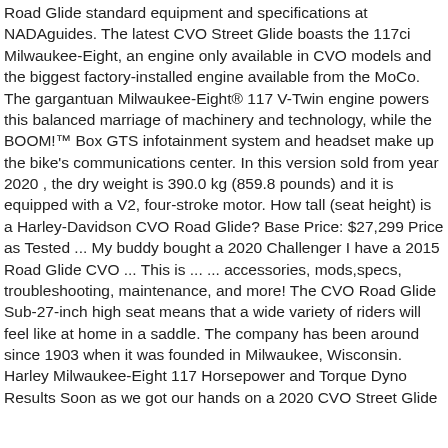Road Glide standard equipment and specifications at NADAguides. The latest CVO Street Glide boasts the 117ci Milwaukee-Eight, an engine only available in CVO models and the biggest factory-installed engine available from the MoCo. The gargantuan Milwaukee-Eight® 117 V-Twin engine powers this balanced marriage of machinery and technology, while the BOOM!™ Box GTS infotainment system and headset make up the bike's communications center. In this version sold from year 2020 , the dry weight is 390.0 kg (859.8 pounds) and it is equipped with a V2, four-stroke motor. How tall (seat height) is a Harley-Davidson CVO Road Glide? Base Price: $27,299 Price as Tested ... My buddy bought a 2020 Challenger I have a 2015 Road Glide CVO ... This is ... ... accessories, mods,specs, troubleshooting, maintenance, and more! The CVO Road Glide Sub-27-inch high seat means that a wide variety of riders will feel like at home in a saddle. The company has been around since 1903 when it was founded in Milwaukee, Wisconsin. Harley Milwaukee-Eight 117 Horsepower and Torque Dyno Results Soon as we got our hands on a 2020 CVO Street Glide